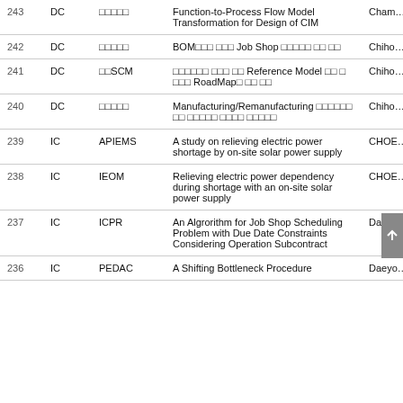| No. | Type | Venue | Title | Author |
| --- | --- | --- | --- | --- |
| 243 | DC | □□□□□ | Function-to-Process Flow Model Transformation for Design of CIM | Cham… |
| 242 | DC | □□□□□ | BOM□□□ □□□ Job Shop □□□□□ □□ □□ | Chiho… |
| 241 | DC | □□SCM | □□□□□□ □□□ □□ Reference Model □□ □ □□□ RoadMap□ □□ □□ | Chiho… |
| 240 | DC | □□□□□ | Manufacturing/Remanufacturing □□□□□□ □□ □□□□□ □□□□ □□□□□ | Chiho… |
| 239 | IC | APIEMS | A study on relieving electric power shortage by on-site solar power supply | CHOE… |
| 238 | IC | IEOM | Relieving electric power dependency during shortage with an on-site solar power supply | CHOE… |
| 237 | IC | ICPR | An Algrorithm for Job Shop Scheduling Problem with Due Date Constraints Considering Operation Subcontract | Daeyo… |
| 236 | IC | PEDAC | A Shifting Bottleneck Procedure | Daeyo… |